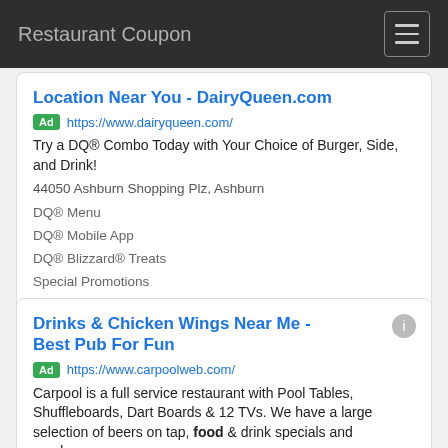Restaurant Coupon
Location Near You - DairyQueen.com
Ad https://www.dairyqueen.com/
Try a DQ® Combo Today with Your Choice of Burger, Side, and Drink!
44050 Ashburn Shopping Plz, Ashburn
DQ® Menu
DQ® Mobile App
DQ® Blizzard® Treats
Special Promotions
Visit Site
Drinks & Chicken Wings Near Me - Best Pub For Fun
Ad https://www.carpoolweb.com/
Carpool is a full service restaurant with Pool Tables, Shuffleboards, Dart Boards & 12 TVs. We have a large selection of beers on tap, food & drink specials and sunday…
Call (574) 000-7005